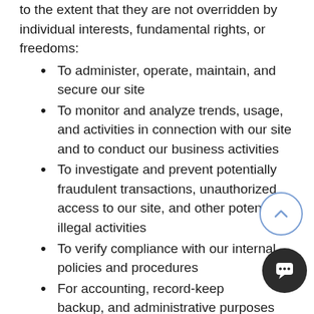to the extent that they are not overridden by individual interests, fundamental rights, or freedoms:
To administer, operate, maintain, and secure our site
To monitor and analyze trends, usage, and activities in connection with our site and to conduct our business activities
To investigate and prevent potentially fraudulent transactions, unauthorized access to our site, and other potentially illegal activities
To verify compliance with our internal policies and procedures
For accounting, record-keeping, backup, and administrative purposes
To customize and improve the content of our communications and site
To protect for our use and...